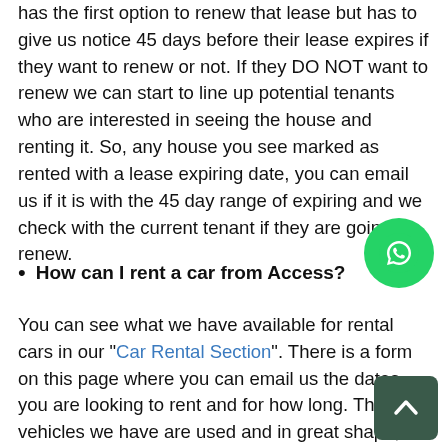has the first option to renew that lease but has to give us notice 45 days before their lease expires if they want to renew or not. If they DO NOT want to renew we can start to line up potential tenants who are interested in seeing the house and renting it. So, any house you see marked as rented with a lease expiring date, you can email us if it is with the 45 day range of expiring and we check with the current tenant if they are going to renew.
How can I rent a car from Access?
You can see what we have available for rental cars in our “Car Rental Section”. There is a form on this page where you can email us the dates you are looking to rent and for how long. The vehicles we have are used and in great shape, have a car at an affordable price is perfect for exploring the different areas Lakeside.